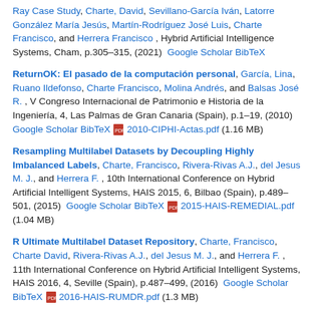Ray Case Study, Charte, David, Sevillano-García Iván, Latorre González María Jesús, Martín-Rodríguez José Luis, Charte Francisco, and Herrera Francisco , Hybrid Artificial Intelligent Systems, Cham, p.305–315, (2021) Google Scholar BibTeX
ReturnOK: El pasado de la computación personal, García, Lina, Ruano Ildefonso, Charte Francisco, Molina Andrés, and Balsas José R. , V Congreso Internacional de Patrimonio e Historia de la Ingeniería, 4, Las Palmas de Gran Canaria (Spain), p.1–19, (2010) Google Scholar BibTeX 2010-CIPHI-Actas.pdf (1.16 MB)
Resampling Multilabel Datasets by Decoupling Highly Imbalanced Labels, Charte, Francisco, Rivera-Rivas A.J., del Jesus M. J., and Herrera F. , 10th International Conference on Hybrid Artificial Intelligent Systems, HAIS 2015, 6, Bilbao (Spain), p.489–501, (2015) Google Scholar BibTeX 2015-HAIS-REMEDIAL.pdf (1.04 MB)
R Ultimate Multilabel Dataset Repository, Charte, Francisco, Charte David, Rivera-Rivas A.J., del Jesus M. J., and Herrera F. , 11th International Conference on Hybrid Artificial Intelligent Systems, HAIS 2016, 4, Seville (Spain), p.487–499, (2016) Google Scholar BibTeX 2016-HAIS-RUMDR.pdf (1.3 MB)